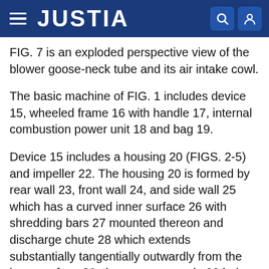JUSTIA
FIG. 7 is an exploded perspective view of the blower goose-neck tube and its air intake cowl.
The basic machine of FIG. 1 includes device 15, wheeled frame 16 with handle 17, internal combustion power unit 18 and bag 19.
Device 15 includes a housing 20 (FIGS. 2-5) and impeller 22. The housing 20 is formed by rear wall 23, front wall 24, and side wall 25 which has a curved inner surface 26 with shredding bars 27 mounted thereon and discharge chute 28 which extends substantially tangentially outwardly from the inner surface 26, the vacuum nozzle 30 being attached to the front wall 24 and extending forwardly and downwardly therefrom past the front wall inlet hole 32. FIG. 2 shows the nozzle front inlet hole 34 in axial horizontal alignment with the front wall inlet hole 32. Rotatable mounted within the housing 20 is impeller